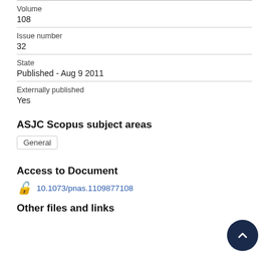Volume
108
Issue number
32
State
Published - Aug 9 2011
Externally published
Yes
ASJC Scopus subject areas
General
Access to Document
10.1073/pnas.1109877108
Other files and links